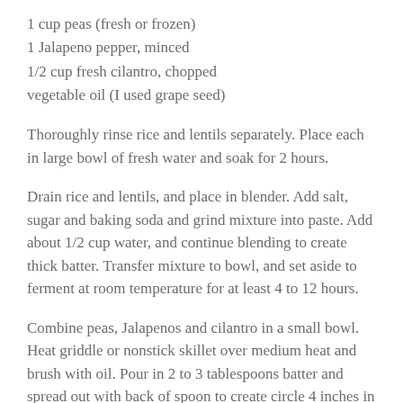1 cup peas (fresh or frozen)
1 Jalapeno pepper, minced
1/2 cup fresh cilantro, chopped
vegetable oil (I used grape seed)
Thoroughly rinse rice and lentils separately. Place each in large bowl of fresh water and soak for 2 hours.
Drain rice and lentils, and place in blender. Add salt, sugar and baking soda and grind mixture into paste. Add about 1/2 cup water, and continue blending to create thick batter. Transfer mixture to bowl, and set aside to ferment at room temperature for at least 4 to 12 hours.
Combine peas, Jalapenos and cilantro in a small bowl. Heat griddle or nonstick skillet over medium heat and brush with oil. Pour in 2 to 3 tablespoons batter and spread out with back of spoon to create circle 4 inches in diameter. Sprinkle some of pea mixture evenly on top. Cook until small bubbles appear on surface, then flip and cook other side until crispy and golden.